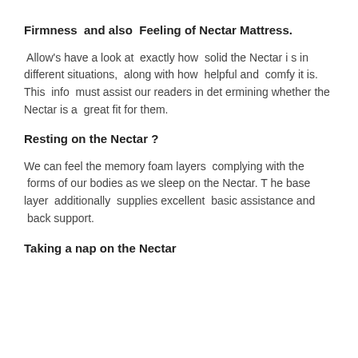Firmness  and also  Feeling of Nectar Mattress.
Allow's have a look at  exactly how  solid the Nectar is in different situations,  along with how  helpful and  comfy it is. This  info  must assist our readers in determining whether the Nectar is a  great fit for them.
Resting on the Nectar ?
We can feel the memory foam layers  complying with the  forms of our bodies as we sleep on the Nectar. The base layer  additionally  supplies excellent  basic assistance and  back support.
Taking a nap on the Nectar